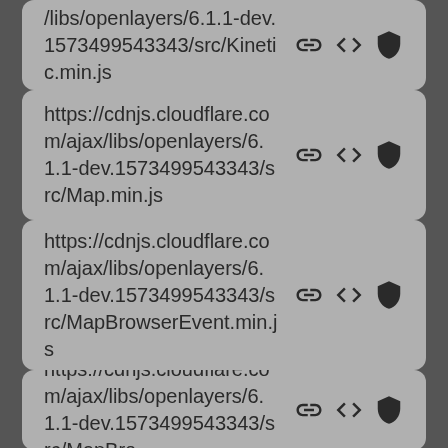/libs/openlayers/6.1.1-dev.1573499543343/src/Kinetic.min.js
https://cdnjs.cloudflare.com/ajax/libs/openlayers/6.1.1-dev.1573499543343/src/Map.min.js
https://cdnjs.cloudflare.com/ajax/libs/openlayers/6.1.1-dev.1573499543343/src/MapBrowserEvent.min.js
https://cdnjs.cloudflare.com/ajax/libs/openlayers/6.1.1-dev.1573499543343/src/MapBro